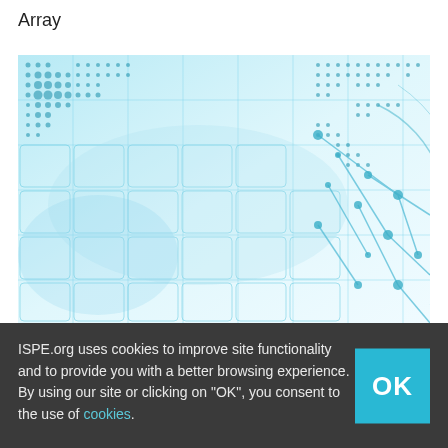Array
[Figure (illustration): Abstract technology background with blue grid, dots pattern, and network lines on white-blue gradient background]
ISPE.org uses cookies to improve site functionality and to provide you with a better browsing experience.
By using our site or clicking on "OK", you consent to the use of cookies.